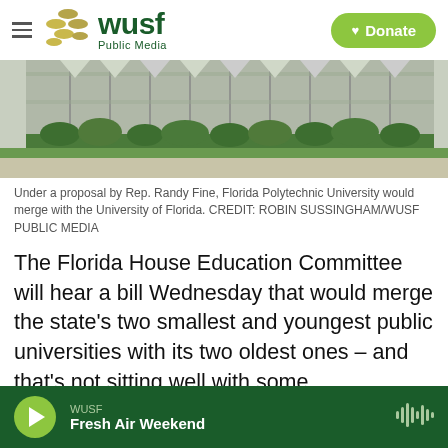[Figure (logo): WUSF Public Media logo with decorative gold dots, green text, and a green rounded Donate button with heart icon]
[Figure (photo): Exterior photo of a building with glass panels, trees, and grass. Florida Polytechnic University campus.]
Under a proposal by Rep. Randy Fine, Florida Polytechnic University would merge with the University of Florida. CREDIT: ROBIN SUSSINGHAM/WUSF PUBLIC MEDIA
The Florida House Education Committee will hear a bill Wednesday that would merge the state's two smallest and youngest public universities with its two oldest ones – and that's not sitting well with some.
WUSF Fresh Air Weekend